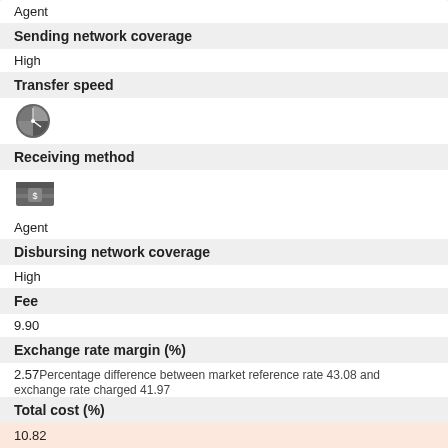Sending network coverage
High
Transfer speed
[Figure (illustration): Pie/clock icon representing transfer speed]
Receiving method
[Figure (illustration): Wallet/cash icon representing receiving method]
Agent
Disbursing network coverage
High
Fee
9.90
Exchange rate margin (%)
2.57 Percentage difference between market reference rate 43.08 and exchange rate charged 41.97
Total cost (%)
10.82
Total cost (GBP)
12.98
Firm